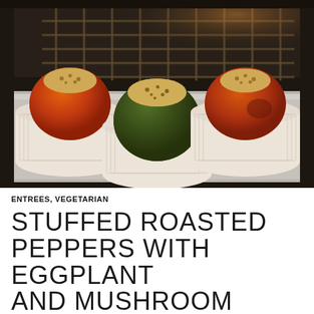[Figure (photo): Three stuffed peppers in white ramekins inside an oven on a baking tray. The left and right peppers are red/orange, the center one is green. All are topped with a breadcrumb or cheese topping. The oven racks are visible in the background.]
ENTREES, VEGETARIAN
STUFFED ROASTED PEPPERS WITH EGGPLANT AND MUSHROOM